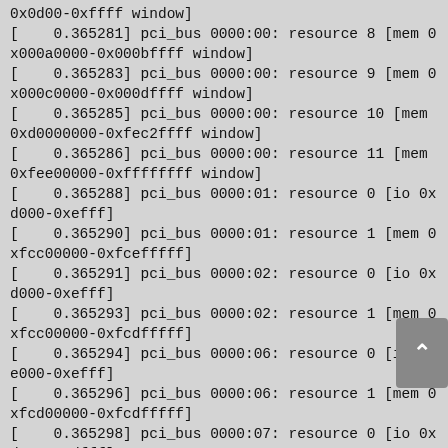0x0d00-0xffff window]
[    0.365281] pci_bus 0000:00: resource 8 [mem 0x000a0000-0x000bffff window]
[    0.365283] pci_bus 0000:00: resource 9 [mem 0x000c0000-0x000dffff window]
[    0.365285] pci_bus 0000:00: resource 10 [mem 0xd0000000-0xfec2ffff window]
[    0.365286] pci_bus 0000:00: resource 11 [mem 0xfee00000-0xffffffff window]
[    0.365288] pci_bus 0000:01: resource 0 [io 0xd000-0xefff]
[    0.365290] pci_bus 0000:01: resource 1 [mem 0xfcc00000-0xfcefffff]
[    0.365291] pci_bus 0000:02: resource 0 [io 0xd000-0xefff]
[    0.365293] pci_bus 0000:02: resource 1 [mem 0xfcc00000-0xfcdfffff]
[    0.365294] pci_bus 0000:06: resource 0 [io 0xe000-0xefff]
[    0.365296] pci_bus 0000:06: resource 1 [mem 0xfcd00000-0xfcdfffff]
[    0.365298] pci_bus 0000:07: resource 0 [io 0xd000-0xdfff]
[    0.365299] pci_bus 0000:07: resource 1 [mem 0xfcc00000-0xfccfffff]